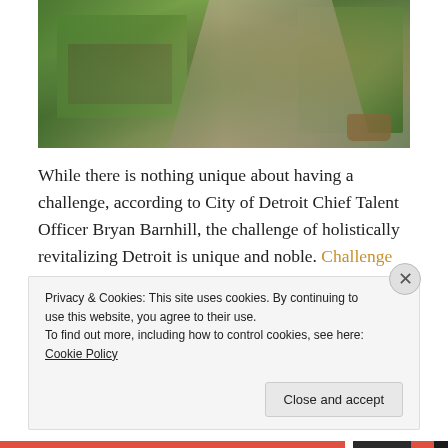[Figure (photo): Outdoor urban plaza or park with paved walkway, green grass areas, trees, outdoor furniture, and potted plants]
While there is nothing unique about having a challenge, according to City of Detroit Chief Talent Officer Bryan Barnhill, the challenge of holistically revitalizing Detroit is unique and noble. Challenge Detroit is an exciting and innovative leadership and professional development
Privacy & Cookies: This site uses cookies. By continuing to use this website, you agree to their use.
To find out more, including how to control cookies, see here: Cookie Policy
Close and accept